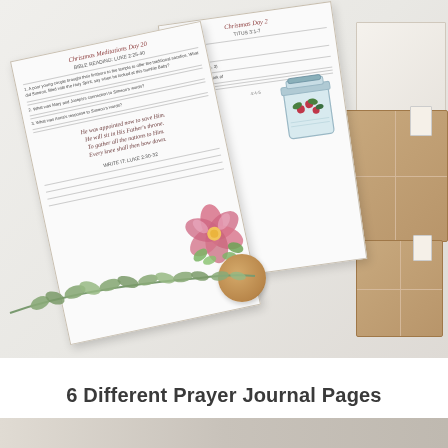[Figure (photo): Flat-lay photo of Christmas Bible meditation journal pages with floral watercolor decorations (poinsettia, mason jar with holly berries), eucalyptus branches, kraft paper gift boxes tied with twine, a candle, and white boxes on a light grey/white surface.]
6 Different Prayer Journal Pages